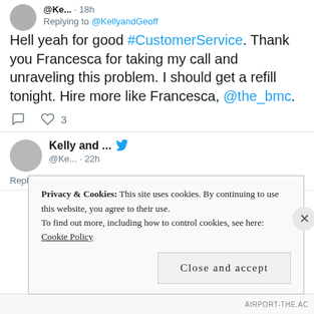@Ke... · 18h
Replying to @KellyandGeoff
Hell yeah for good #CustomerService. Thank you Francesca for taking my call and unraveling this problem. I should get a refill tonight. Hire more like Francesca, @the_bmc.
[Figure (screenshot): Tweet actions: comment icon and heart icon with count 3]
[Figure (photo): Avatar image for Kelly and ... account]
Kelly and ...  @Ke... · 22h
Replying to @KellyandGeoff
Privacy & Cookies: This site uses cookies. By continuing to use this website, you agree to their use. To find out more, including how to control cookies, see here: Cookie Policy
Close and accept